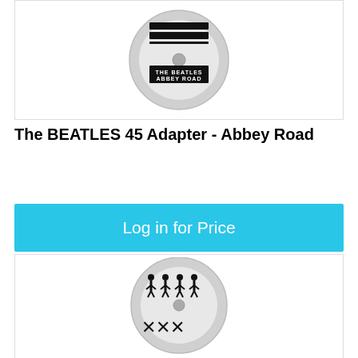[Figure (photo): A round silver 45 RPM record adapter with 'THE BEATLES ABBEY ROAD' text and crosswalk graphic on top]
The BEATLES 45 Adapter - Abbey Road
Log in for Price
[Figure (photo): A round silver 45 RPM record adapter with silhouettes of four people walking in a line (Abbey Road crossing) on top]